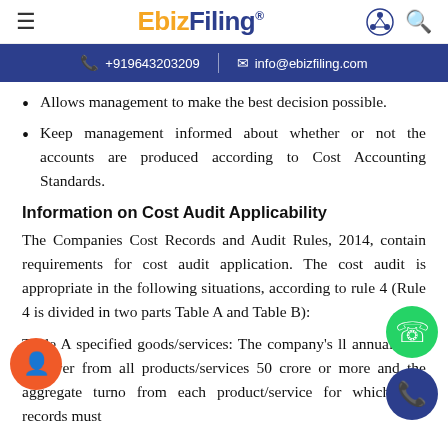EbizFiling
+919643203209 | info@ebizfiling.com
Allows management to make the best decision possible.
Keep management informed about whether or not the accounts are produced according to Cost Accounting Standards.
Information on Cost Audit Applicability
The Companies Cost Records and Audit Rules, 2014, contain requirements for cost audit application. The cost audit is appropriate in the following situations, according to rule 4 (Rule 4 is divided in two parts Table A and Table B):
Table A specified goods/services: The company's ll annual total turnover from all products/services 50 crore or more and the aggregate turno from each product/service for which cost records must